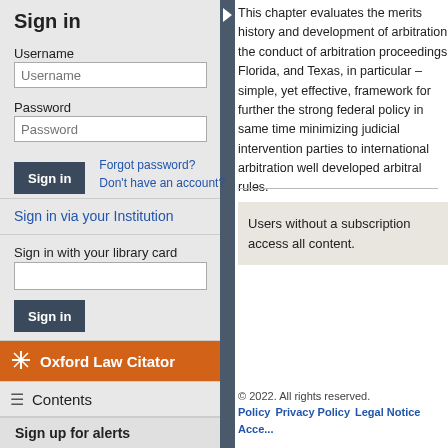Sign in
Username
Password
Forgot password?
Don't have an account?
Sign in via your Institution
Sign in with your library card
Oxford Law Citator
Contents
Sign up for alerts
This chapter evaluates the merits history and development of arbitration the conduct of arbitration proceedings Florida, and Texas, in particular – simple, yet effective, framework for further the strong federal policy in same time minimizing judicial intervention parties to international arbitration well developed arbitral rules.
Users without a subscription access all content.
© 2022. All rights reserved.
Policy   Privacy Policy   Legal Notice   Access